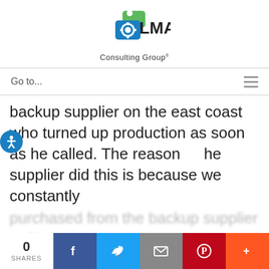[Figure (logo): LMA Consulting Group logo with green and blue puzzle-piece icon and text 'LMA Consulting Group']
Go to...
backup supplier on the east coast who turned up production as soon as he called. The reason the supplier did this is because we constantly purchased from the backup supplier to fill the gap — we wanted the relationship with our supplier and ... [content obscured by cookie modal]
This website uses cookies to ensure you get the best experience on our website.
Dismiss   Accept
0 SHARES  [Facebook] [Twitter] [Email] [Pinterest] [+]